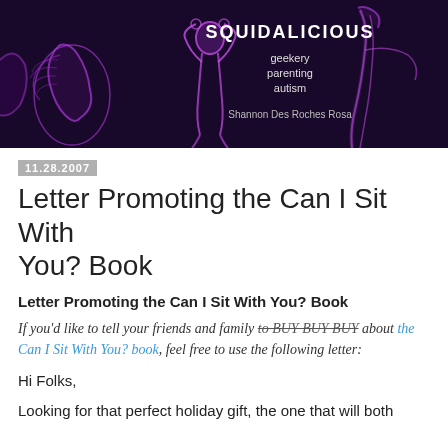[Figure (illustration): Squidalicious blog banner with dark purple/black background showing three glowing purple alien/squid-like humanoid figures. Text overlay reads 'SQUIDALICIOUS' with subtitle lines 'geekery parenting autism' and 'Shannon Des Roches Rosa']
11.28.2007
Letter Promoting the Can I Sit With You? Book
Letter Promoting the Can I Sit With You? Book
If you'd like to tell your friends and family to BUY BUY BUY about the Can I Sit With You? book, feel free to use the following letter:
Hi Folks,
Looking for that perfect holiday gift, the one that will both